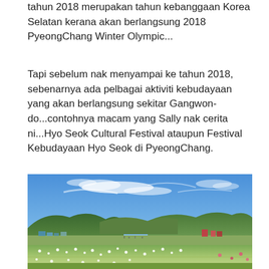tahun 2018 merupakan tahun kebanggaan Korea Selatan kerana akan berlangsung 2018 PyeongChang Winter Olympic...
Tapi sebelum nak menyampai ke tahun 2018, sebenarnya ada pelbagai aktiviti kebudayaan yang akan berlangsung sekitar Gangwon-do...contohnya macam yang Sally nak cerita ni...Hyo Seok Cultural Festival ataupun Festival Kebudayaan Hyo Seok di PyeongChang.
[Figure (photo): Outdoor landscape photo showing a wide green field with white wildflowers in the foreground, a festival ground with colorful tents and visitors in the middle distance, forested hills and mountains in the background, and a blue sky with wispy white clouds above.]